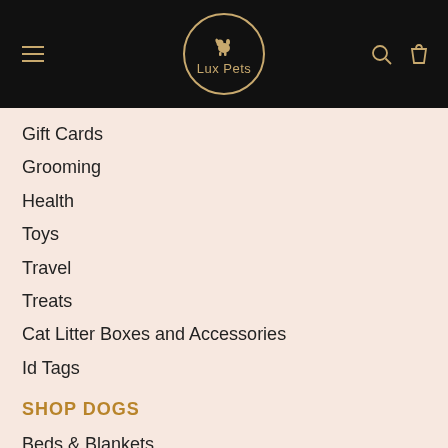[Figure (logo): Lux Pets logo: a golden circle with a dog silhouette icon and text 'Lux Pets' on a black navigation bar with hamburger menu, search icon, and bag icon.]
Gift Cards
Grooming
Health
Toys
Travel
Treats
Cat Litter Boxes and Accessories
Id Tags
SHOP DOGS
Beds & Blankets
Dog Bowls
Collars, Leads and Harnesses
Food
Gift Cards